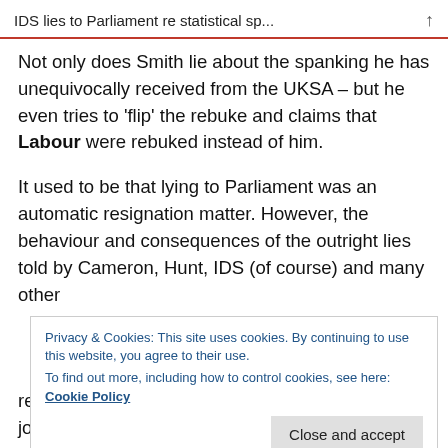IDS lies to Parliament re statistical sp...
Not only does Smith lie about the spanking he has unequivocally received from the UKSA – but he even tries to 'flip' the rebuke and claims that Labour were rebuked instead of him.
It used to be that lying to Parliament was an automatic resignation matter. However, the behaviour and consequences of the outright lies told by Cameron, Hunt, IDS (of course) and many other
Privacy & Cookies: This site uses cookies. By continuing to use this website, you agree to their use. To find out more, including how to control cookies, see here: Cookie Policy
resign. Since the Prime Minister will not do his job,